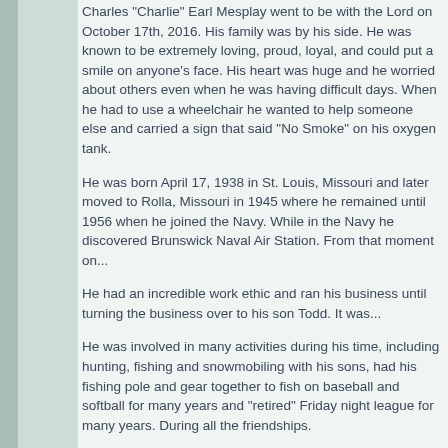Charles "Charlie" Earl Mesplay went to be with the Lord on October 17th, 2016. His family was by his side. He was known to be extremely loving, proud, loyal, and could put a smile on anyone's face. His heart was huge and he worried about others even when he was having difficult days. When he had to use a wheelchair he wanted to help someone else and carried a sign that said "No Smoke" on his oxygen tank.
He was born April 17, 1938 in St. Louis, Missouri and later moved to Rolla, Missouri in 1945 where he remained until 1956 when he joined the Navy. While in the Navy he discovered Brunswick Naval Air Station. From that moment on...
He had an incredible work ethic and ran his business until turning the business over to his son Todd. It was...
He was involved in many activities during his time, including hunting, fishing and snowmobiling with his sons, had his fishing pole and gear together to fish on baseball and softball for many years and "retired" Friday night league for many years. During all the friendships.
After giving his life to the Lord he "ministered" through homes, singing in church or have a jam session visiting from Missouri. His guitar playing and singing...
He was patriotic, proud to be an American and loved friendly debates. He looked forward to having co Charlie and many of these special people were ceremonies honoring Armed Services who left...